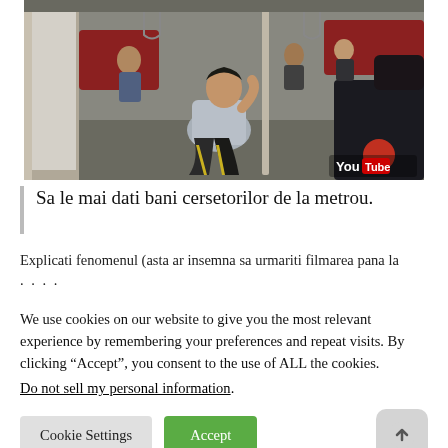[Figure (photo): A man sitting on the floor of a metro/subway car, leaning against a pole, with other passengers seated in the background. YouTube watermark visible in bottom-right corner.]
Sa le mai dati bani cersetorilor de la metrou.
Explicati fenomenul (asta ar insemna sa urmariti filmarea pana la ....
We use cookies on our website to give you the most relevant experience by remembering your preferences and repeat visits. By clicking “Accept”, you consent to the use of ALL the cookies.
Do not sell my personal information.